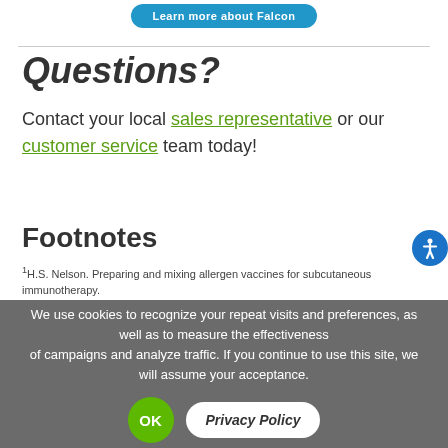Questions?
Contact your local sales representative or our customer service team today!
Footnotes
1H.S. Nelson. Preparing and mixing allergen vaccines for subcutaneous immunotherapy. R.F. Lockey, S.C. Bukantz, & J. Bousquet (Eds.), Allergens and allergen immunotherapy, 4th ed., p. 315, 2008.
We use cookies to recognize your repeat visits and preferences, as well as to measure the effectiveness of campaigns and analyze traffic. If you continue to use this site, we will assume your acceptance.